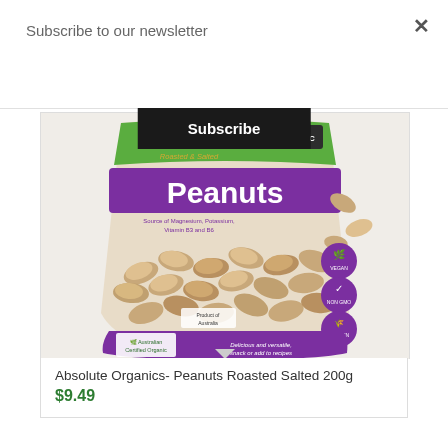Subscribe to our newsletter
Subscribe
[Figure (photo): Absolute Organics Roasted & Salted Peanuts 200g product bag with purple label, showing peanuts, organic badge, and Australian certification marks]
Absolute Organics- Peanuts Roasted Salted 200g
$9.49